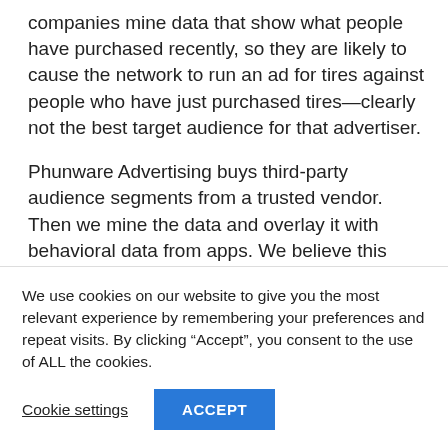companies mine data that show what people have purchased recently, so they are likely to cause the network to run an ad for tires against people who have just purchased tires—clearly not the best target audience for that advertiser.
Phunware Advertising buys third-party audience segments from a trusted vendor. Then we mine the data and overlay it with behavioral data from apps. We believe this gives advertisers the best of all worlds in terms of fresh and accurate audience segmentation
We use cookies on our website to give you the most relevant experience by remembering your preferences and repeat visits. By clicking “Accept”, you consent to the use of ALL the cookies.
Cookie settings
ACCEPT